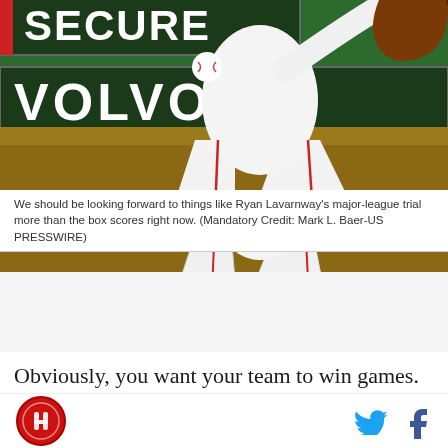[Figure (photo): Baseball player in white uniform lunging or fielding near green outfield wall with SECURE and VOLVO advertisements; a baseball is visible in flight; another player's gloved hand visible at right edge.]
We should be looking forward to things like Ryan Lavarnway's major-league trial more than the box scores right now. (Mandatory Credit: Mark L. Baer-US PRESSWIRE)
Obviously, you want your team to win games. Lots of them, in fact. Enough to enjoy the reward of the